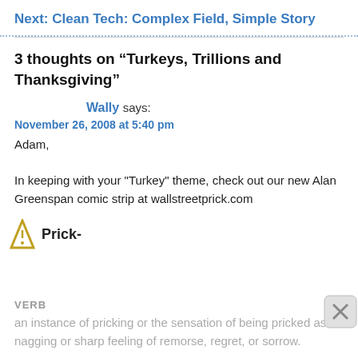Next: Clean Tech: Complex Field, Simple Story
3 thoughts on “Turkeys, Trillions and Thanksgiving”
Wally says:
November 26, 2008 at 5:40 pm
Adam,

In keeping with your "Turkey" theme, check out our new Alan Greenspan comic strip at wallstreetprick.com
Prick-
VERB
an instance of pricking or the sensation of being pricked as a nagging or sharp feeling of remorse, regret, or sorrow.